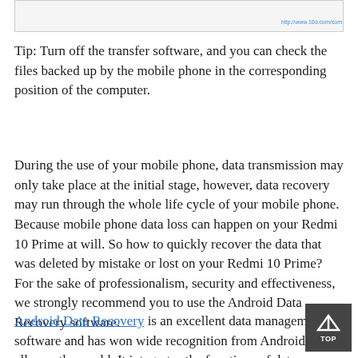[Figure (screenshot): Screenshot or image placeholder at the top of the page with a URL label]
Tip: Turn off the transfer software, and you can check the files backed up by the mobile phone in the corresponding position of the computer.
During the use of your mobile phone, data transmission may only take place at the initial stage, however, data recovery may run through the whole life cycle of your mobile phone. Because mobile phone data loss can happen on your Redmi 10 Prime at will. So how to quickly recover the data that was deleted by mistake or lost on your Redmi 10 Prime? For the sake of professionalism, security and effectiveness, we strongly recommend you to use the Android Data Recovery software.
Android Data Recovery is an excellent data management software and has won wide recognition from Android users all over the world. It integrates the functions of data recovery, data backup and system repair, etc. It can not